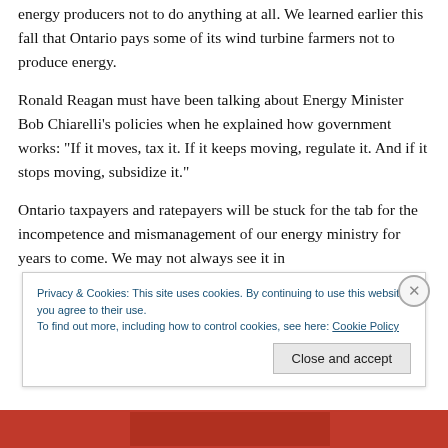energy producers not to do anything at all. We learned earlier this fall that Ontario pays some of its wind turbine farmers not to produce energy.
Ronald Reagan must have been talking about Energy Minister Bob Chiarelli’s policies when he explained how government works: “If it moves, tax it. If it keeps moving, regulate it. And if it stops moving, subsidize it.”
Ontario taxpayers and ratepayers will be stuck for the tab for the incompetence and mismanagement of our energy ministry for years to come. We may not always see it in
Privacy & Cookies: This site uses cookies. By continuing to use this website, you agree to their use.
To find out more, including how to control cookies, see here: Cookie Policy
[Figure (other): Close and accept button for cookie banner, and a red image strip at the bottom of the page]